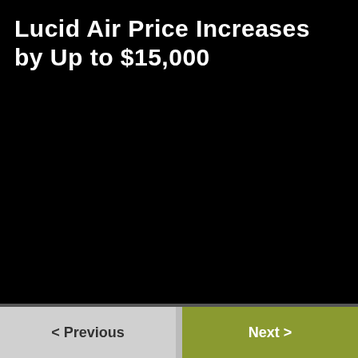Lucid Air Price Increases by Up to $15,000
< Previous    Next >